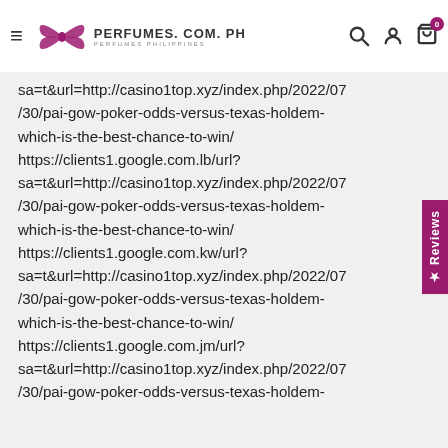PERFUMES.COM.PH
sa=t&url=http://casino1top.xyz/index.php/2022/07/30/pai-gow-poker-odds-versus-texas-holdem-which-is-the-best-chance-to-win/ https://clients1.google.com.lb/url?sa=t&url=http://casino1top.xyz/index.php/2022/07/30/pai-gow-poker-odds-versus-texas-holdem-which-is-the-best-chance-to-win/ https://clients1.google.com.kw/url?sa=t&url=http://casino1top.xyz/index.php/2022/07/30/pai-gow-poker-odds-versus-texas-holdem-which-is-the-best-chance-to-win/ https://clients1.google.com.jm/url?sa=t&url=http://casino1top.xyz/index.php/2022/07/30/pai-gow-poker-odds-versus-texas-holdem-